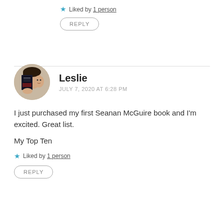★ Liked by 1 person
REPLY
Leslie
JULY 7, 2020 AT 6:28 PM
I just purchased my first Seanan McGuire book and I'm excited. Great list.

My Top Ten
★ Liked by 1 person
REPLY